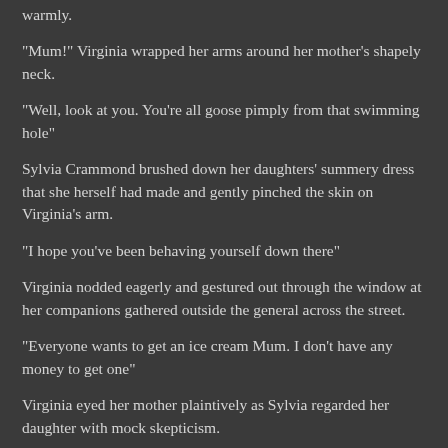warmly.
"Mum!" Virginia wrapped her arms around her mother's shapely neck.
"Well, look at you. You're all goose pimply from that swimming hole"
Sylvia Crammond brushed down her daughters' summery dress that she herself had made and gently pinched the skin on Virginia's arm.
"I hope you've been behaving yourself down there"
Virginia nodded eagerly and gestured out through the window at her companions gathered outside the general across the street.
"Everyone wants to get an ice cream Mum. I don't have any money to get one"
Virginia eyed her mother plaintively as Sylvia regarded her daughter with mock skepticism.